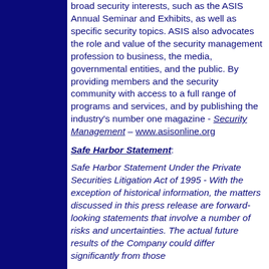broad security interests, such as the ASIS Annual Seminar and Exhibits, as well as specific security topics. ASIS also advocates the role and value of the security management profession to business, the media, governmental entities, and the public. By providing members and the security community with access to a full range of programs and services, and by publishing the industry's number one magazine - Security Management – www.asisonline.org
Safe Harbor Statement:
Safe Harbor Statement Under the Private Securities Litigation Act of 1995 - With the exception of historical information, the matters discussed in this press release are forward-looking statements that involve a number of risks and uncertainties. The actual future results of the Company could differ significantly from those